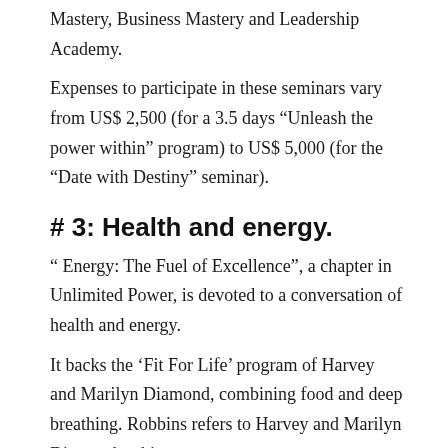Mastery, Business Mastery and Leadership Academy.
Expenses to participate in these seminars vary from US$ 2,500 (for a 3.5 days “Unleash the power within” program) to US$ 5,000 (for the “Date with Destiny” seminar).
# 3: Health and energy.
“ Energy: The Fuel of Excellence”, a chapter in Unlimited Power, is devoted to a conversation of health and energy.
It backs the ‘Fit For Life’ program of Harvey and Marilyn Diamond, combining food and deep breathing. Robbins refers to Harvey and Marilyn Diamond as his